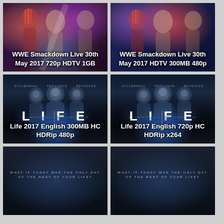[Figure (photo): WWE Smackdown Live thumbnail with wrestlers, dark purple/red background. Label: WWE Smackdown Live 30th May 2017 720p HDTV 1GB]
[Figure (photo): WWE Smackdown Live thumbnail with wrestlers, dark blue background. Label: WWE Smackdown Live 30th May 2017 HDTV 300MB 480p]
[Figure (photo): Life 2017 movie poster with Gyllenhaal, Ferguson, Reynolds in space suits and LIFE title. Label: Life 2017 English 300MB HC HDRip 480p]
[Figure (photo): Life 2017 movie poster with Gyllenhaal, Ferguson, Reynolds in space suits and LIFE title. Label: Life 2017 English 720p HC HDRip x264]
[Figure (photo): Partial movie thumbnail with text WHAT IF TODAY WAS THE ONLY DAY OF THE REST OF YOUR LIFE?]
[Figure (photo): Partial movie thumbnail with text WHAT IF TODAY WAS THE ONLY DAY OF THE REST OF YOUR LIFE?]